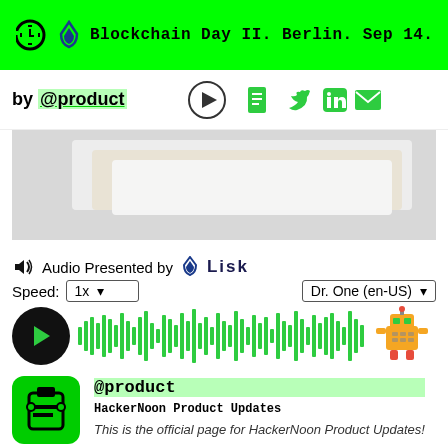Blockchain Day II. Berlin. Sep 14.
by @product
[Figure (screenshot): Hero image showing abstract white/beige stacked shapes on grey background]
Audio Presented by Lisk
Speed: 1x | Dr. One (en-US)
[Figure (infographic): Audio waveform player with play button and robot icon]
@product
HackerNoon Product Updates
This is the official page for HackerNoon Product Updates!